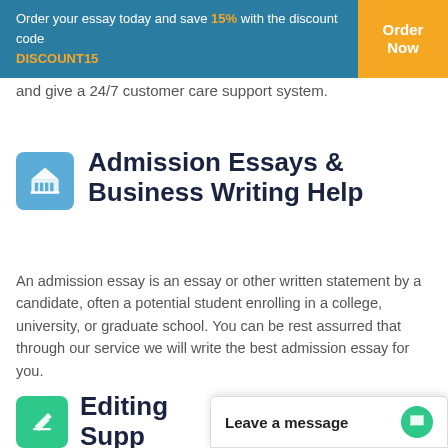Order your essay today and save 15% with the discount code DISCOUNT15
and give a 24/7 customer care support system.
Admission Essays & Business Writing Help
An admission essay is an essay or other written statement by a candidate, often a potential student enrolling in a college, university, or graduate school. You can be rest assurred that through our service we will write the best admission essay for you.
Editing Supp...
Leave a message